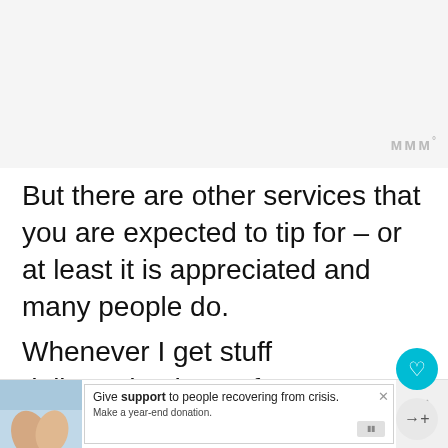[Figure (other): Light grey rectangular placeholder image area at top of page]
But there are other services that you are expected to tip for – or at least it is appreciated and many people do.
Whenever I get stuff delivered at home for example, I tip around 5 lei (which is around 1 Euro), no matter how much I pay for
[Figure (photo): Two people holding hands, partially visible at bottom left]
Give support to people recovering from crisis. Make a year-end donation.